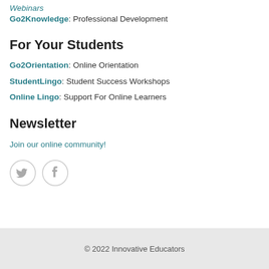Webinars
Go2Knowledge: Professional Development
For Your Students
Go2Orientation: Online Orientation
StudentLingo: Student Success Workshops
Online Lingo: Support For Online Learners
Newsletter
Join our online community!
[Figure (illustration): Twitter and Facebook social media icon circles]
© 2022 Innovative Educators